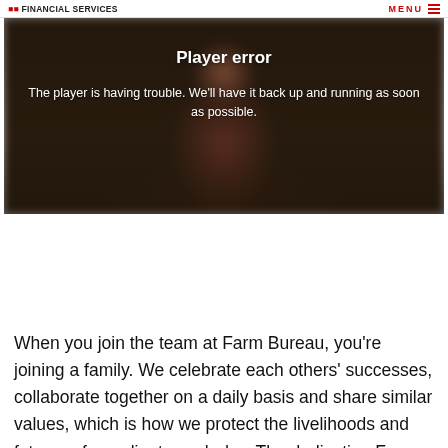FINANCIAL SERVICES  MENU
[Figure (screenshot): Video player showing a person in a red shirt with a player error overlay message]
Player error
The player is having trouble. We'll have it back up and running as soon as possible.
When you join the team at Farm Bureau, you're joining a family. We celebrate each others' successes, collaborate together on a daily basis and share similar values, which is how we protect the livelihoods and futures of our clients each day. The dedication Farm Bureau has for our insurance agents and the entire